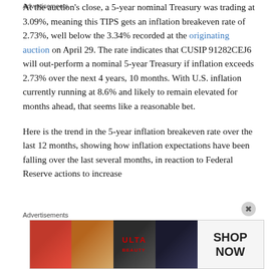At the auction's close, a 5-year nominal Treasury was trading at 3.09%, meaning this TIPS gets an inflation breakeven rate of 2.73%, well below the 3.34% recorded at the originating auction on April 29. The rate indicates that CUSIP 91282CEJ6 will out-perform a nominal 5-year Treasury if inflation exceeds 2.73% over the next 4 years, 10 months. With U.S. inflation currently running at 8.6% and likely to remain elevated for months ahead, that seems like a reasonable bet.
Here is the trend in the 5-year inflation breakeven rate over the last 12 months, showing how inflation expectations have been falling over the last several months, in reaction to Federal Reserve actions to increase
Advertisements
[Figure (photo): Advertisement banner for ULTA beauty products showing cosmetic imagery with 'SHOP NOW' call to action]